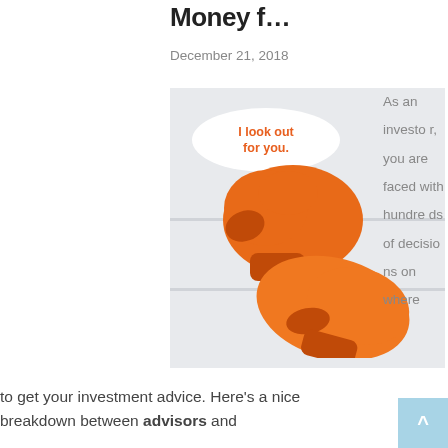Money f…
December 21, 2018
[Figure (illustration): Illustration of two orange boxing gloves with a speech bubble saying 'I look out for you.' on a light grey background with horizontal stripe lines.]
As an investor, you are faced with hundreds of decisions on where to get your investment advice. Here's a nice breakdown between advisors and